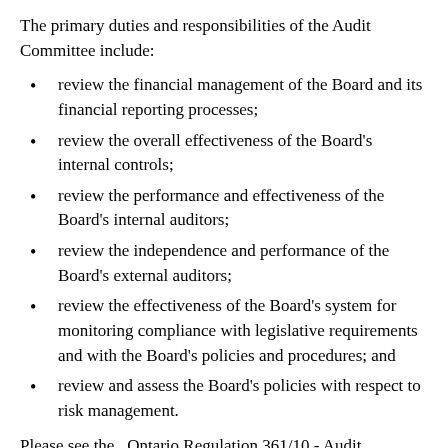The primary duties and responsibilities of the Audit Committee include:
review the financial management of the Board and its financial reporting processes;
review the overall effectiveness of the Board's internal controls;
review the performance and effectiveness of the Board's internal auditors;
review the independence and performance of the Board's external auditors;
review the effectiveness of the Board's system for monitoring compliance with legislative requirements and with the Board's policies and procedures; and
review and assess the Board's policies with respect to risk management.
Please see the  Ontario Regulation 361/10 - Audit Committees for more information :